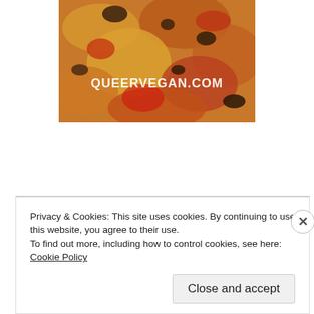[Figure (photo): Close-up photo of baked vegan food (pizza or casserole) with yellow and red tones, with text overlay QUEERVEGAN.COM]
Ingredients:
Works Best
Privacy & Cookies: This site uses cookies. By continuing to use this website, you agree to their use.
To find out more, including how to control cookies, see here: Cookie Policy
Close and accept